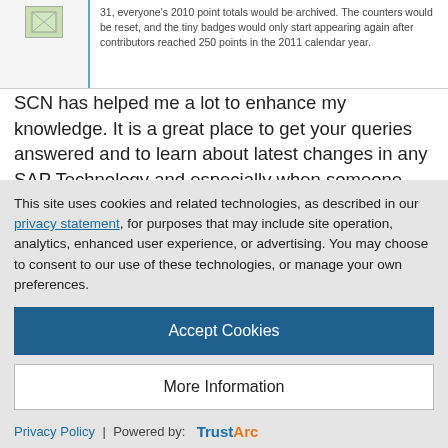31, everyone's 2010 point totals would be archived. The counters would be reset, and the tiny badges would only start appearing again after contributors reached 250 points in the 2011 calendar year.
SCN has helped me a lot to enhance my knowledge. It is a great place to get your queries answered and to learn about latest changes in any SAP Technology and especially when someone wants to learn about new technologies like HANA.
I always used to search for content in SCN but I never used to log in or participate.
This site uses cookies and related technologies, as described in our privacy statement, for purposes that may include site operation, analytics, enhanced user experience, or advertising. You may choose to consent to our use of these technologies, or manage your own preferences.
Accept Cookies
More Information
Privacy Policy | Powered by: TrustArc
me.